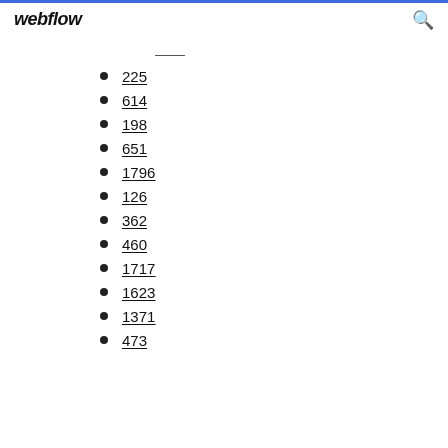webflow
225
614
198
651
1796
126
362
460
1717
1623
1371
473